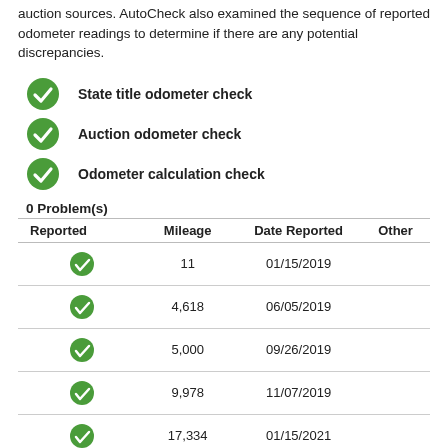auction sources. AutoCheck also examined the sequence of reported odometer readings to determine if there are any potential discrepancies.
State title odometer check
Auction odometer check
Odometer calculation check
0 Problem(s)
| Reported | Mileage | Date Reported | Other |
| --- | --- | --- | --- |
| ✓ | 11 | 01/15/2019 |  |
| ✓ | 4,618 | 06/05/2019 |  |
| ✓ | 5,000 | 09/26/2019 |  |
| ✓ | 9,978 | 11/07/2019 |  |
| ✓ | 17,334 | 01/15/2021 |  |